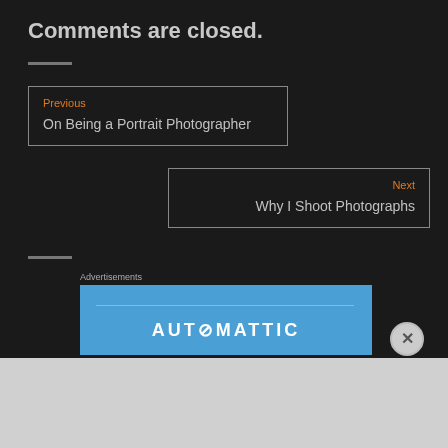Comments are closed.
Previous
On Being a Portrait Photographer
Next
Why I Shoot Photographs
Advertisements
[Figure (other): Automattic advertisement banner with blue background and white text reading AUTOMATTIC]
Advertisements
[Figure (other): WooCommerce advertisement banner with purple background. Left side has WooCommerce logo, right side reads: The most customizable eCommerce platform]